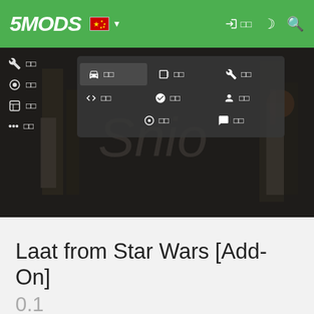5MODS navigation bar with logo, Chinese flag dropdown, login, night mode, and search icons
[Figure (screenshot): Hero banner image showing a dark workshop/garage background with blurred 'Snio' text logo. Overlaid navigation menu with icons and Chinese text labels including vehicle, script, misc, tools, paint, clothing, and other categories. Left sidebar shows wrench, grenade, shield, and more icons with Chinese labels.]
Laat from Star Wars [Add-On]
0.1